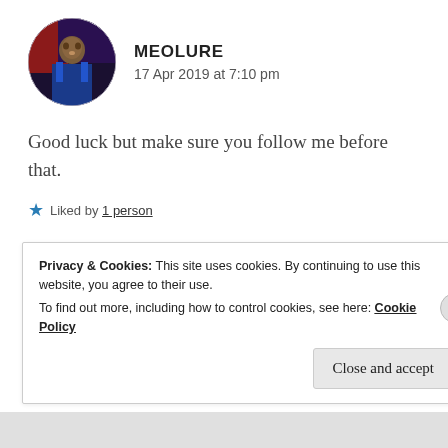[Figure (photo): Circular avatar photo of a person in a blue suit against a red/dark background]
MEOLURE
17 Apr 2019 at 7:10 pm
Good luck but make sure you follow me before that.
★ Liked by 1 person
REPLY
Privacy & Cookies: This site uses cookies. By continuing to use this website, you agree to their use.
To find out more, including how to control cookies, see here: Cookie Policy
Close and accept